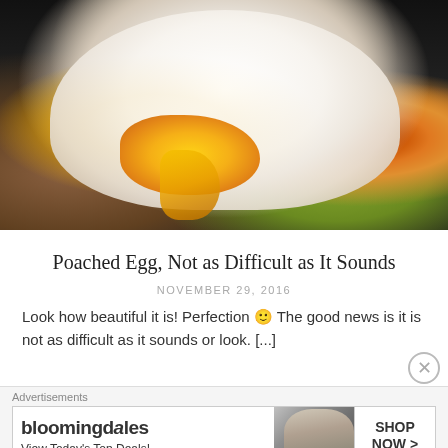[Figure (photo): Close-up photo of a poached egg with runny golden yolk on toast, with cherry tomatoes and green vegetables visible on a dark background]
Poached Egg, Not as Difficult as It Sounds
NOVEMBER 29, 2016
Look how beautiful it is! Perfection 🙂 The good news is it is not as difficult as it sounds or look. [...]
Advertisements
[Figure (other): Bloomingdale's advertisement banner: 'bloomingdales View Today's Top Deals!' with a woman in a wide-brim hat and 'SHOP NOW >' button]